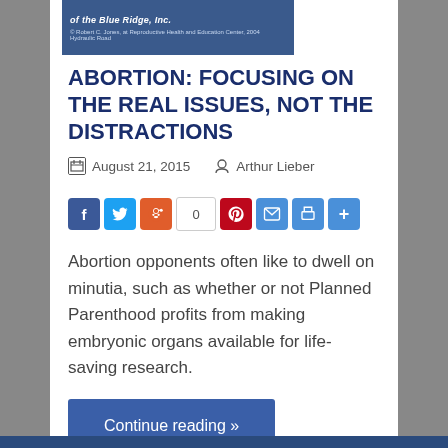[Figure (photo): Partial image of a blue sign reading 'of the Blue Ridge, Inc.' with small text below]
ABORTION: FOCUSING ON THE REAL ISSUES, NOT THE DISTRACTIONS
August 21, 2015   Arthur Lieber
[Figure (infographic): Social share buttons: Facebook, Twitter, Reddit, count box showing 0, Pinterest, Email, Print, Share]
Abortion opponents often like to dwell on minutia, such as whether or not Planned Parenthood profits from making embryonic organs available for life-saving research.
Continue reading »